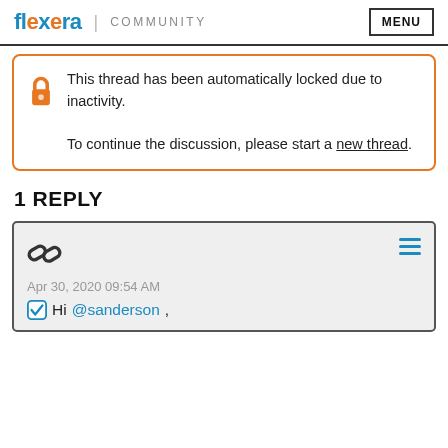Flexera | COMMUNITY   MENU
This thread has been automatically locked due to inactivity.

To continue the discussion, please start a new thread.
1 REPLY
Apr 30, 2020 09:54 AM
Hi @sanderson ,